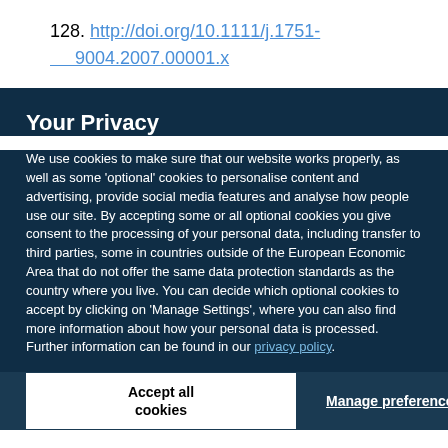128. http://doi.org/10.1111/j.1751-9004.2007.00001.x
Your Privacy
We use cookies to make sure that our website works properly, as well as some 'optional' cookies to personalise content and advertising, provide social media features and analyse how people use our site. By accepting some or all optional cookies you give consent to the processing of your personal data, including transfer to third parties, some in countries outside of the European Economic Area that do not offer the same data protection standards as the country where you live. You can decide which optional cookies to accept by clicking on 'Manage Settings', where you can also find more information about how your personal data is processed. Further information can be found in our privacy policy.
Accept all cookies
Manage preferences